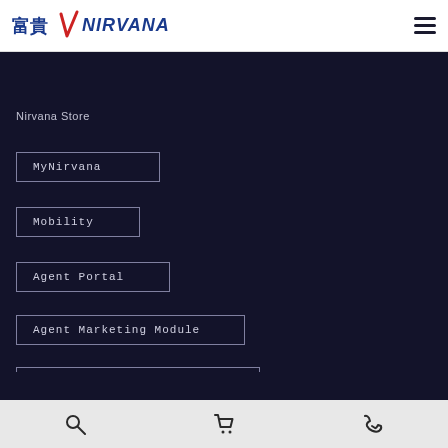富貴 NIRVANA
Nirvana Store
MyNirvana
Mobility
Agent Portal
Agent Marketing Module
Learning Management System
Privacy Policy
Terms of Use